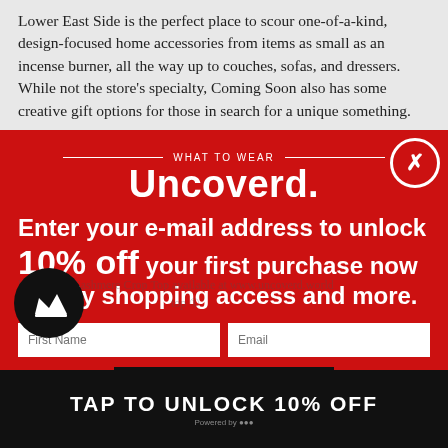Lower East Side is the perfect place to scour one-of-a-kind, design-focused home accessories from items as small as an incense burner, all the way up to couches, sofas, and dressers. While not the store's specialty, Coming Soon also has some creative gift options for those in search for a unique something.
[Figure (screenshot): Red modal popup overlay for Uncoverd website email signup. Contains header 'WHAT TO WEAR / Uncoverd.', offer text 'Enter your e-mail address to unlock 10% off your first purchase now + early shopping access and more.', two input fields (First Name, Email), a black GET MY PROMO CODE button, and decline text. Close button (X) in top right circle. Bottom black bar with 'TAP TO UNLOCK 10% OFF'.]